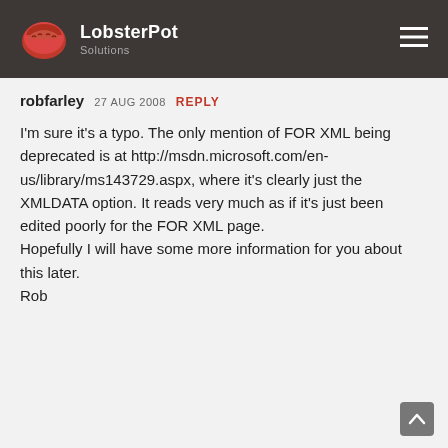LobsterPot Solutions
robfarley  27 AUG 2008  REPLY
I'm sure it's a typo. The only mention of FOR XML being deprecated is at http://msdn.microsoft.com/en-us/library/ms143729.aspx, where it's clearly just the XMLDATA option. It reads very much as if it's just been edited poorly for the FOR XML page.
Hopefully I will have some more information for you about this later.
Rob